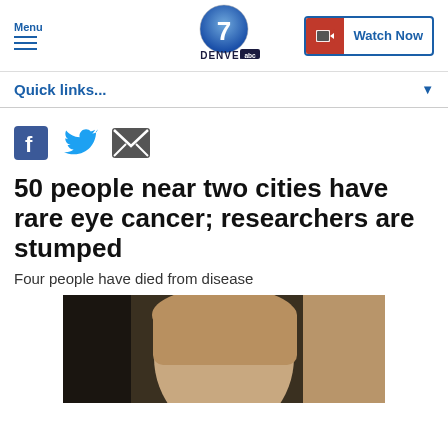Menu | Denver 7 ABC | Watch Now
Quick links...
[Figure (other): Social sharing icons: Facebook, Twitter, Email]
50 people near two cities have rare eye cancer; researchers are stumped
Four people have died from disease
[Figure (photo): Photo of a person with a white eye patch covering one eye, partial face visible]